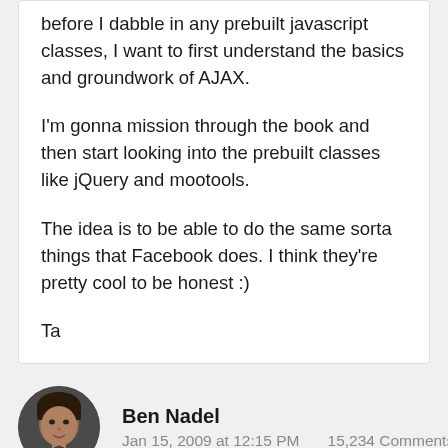before I dabble in any prebuilt javascript classes, I want to first understand the basics and groundwork of AJAX.

I'm gonna mission through the book and then start looking into the prebuilt classes like jQuery and mootools.

The idea is to be able to do the same sorta things that Facebook does. I think they're pretty cool to be honest :)

Ta
Ben Nadel
Jan 15, 2009 at 12:15 PM    15,234 Comments